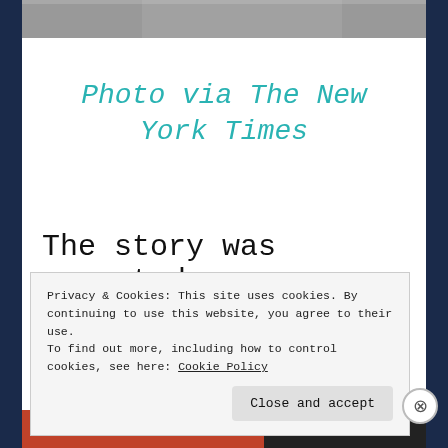[Figure (photo): Top portion of a black and white photograph, partially cropped, showing a person.]
Photo via The New York Times
The story was narrated
Privacy & Cookies: This site uses cookies. By continuing to use this website, you agree to their use.
To find out more, including how to control cookies, see here: Cookie Policy
Close and accept
[Figure (photo): Bottom strip showing partial image with orange/red and dark sections.]